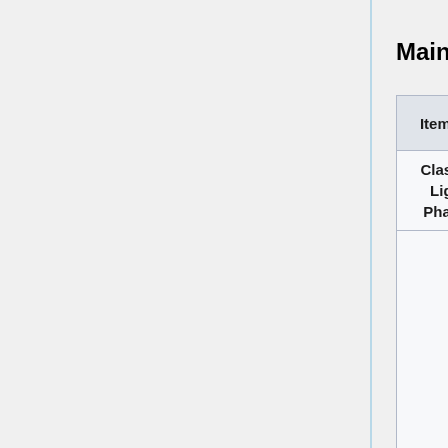Main Weapons
| Item | Image | Power used | Resource Cost |
| --- | --- | --- | --- |
| Class-A Light Phaser | [phaser icon] | 65 | N/A |
| Mk.1 | [mk1 icon] |  |  |